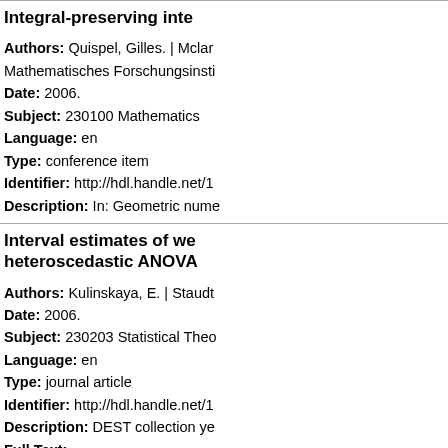Integral-preserving inte...
Authors: Quispel, Gilles. | Mclar...
Mathematisches Forschungsinsti...
Date: 2006.
Subject: 230100 Mathematics
Language: en
Type: conference item
Identifier: http://hdl.handle.net/1...
Description: In: Geometric nume...
Interval estimates of we... heteroscedastic ANOVA...
Authors: Kulinskaya, E. | Staudt...
Date: 2006.
Subject: 230203 Statistical Theo...
Language: en
Type: journal article
Identifier: http://hdl.handle.net/1...
Description: DEST collection ye...
Full Text:
Lebesgue constants in...